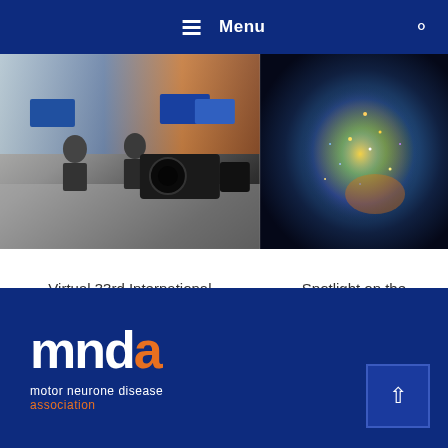Menu
[Figure (photo): TV studio with two people being interviewed, large camera in foreground, screens and signage visible in background]
[Figure (photo): Abstract galaxy or neuron-like image with glowing particles in blue, yellow, and orange hues]
Virtual 33rd International Symposium on ALS/MND- Important announcement
Spotlight on the Symposium e
[Figure (logo): MNDA - Motor Neurone Disease Association logo. Letters 'mnd' in white and 'a' in orange. Subtitle: 'motor neurone disease association']
motor neurone disease association